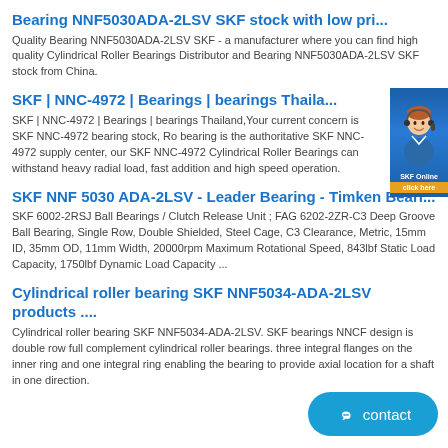Bearing NNF5030ADA-2LSV SKF stock with low pri...
Quality Bearing NNF5030ADA-2LSV SKF - a manufacturer where you can find high quality Cylindrical Roller Bearings Distributor and Bearing NNF5030ADA-2LSV SKF stock from China.
SKF | NNC-4972 | Bearings | bearings Thaila...
SKF | NNC-4972 | Bearings | bearings Thailand,Your current concern is SKF NNC-4972 bearing stock, Ro bearing is the authoritative SKF NNC-4972 supply center, our SKF NNC-4972 Cylindrical Roller Bearings can withstand heavy radial load, fast addition and high speed operation.
[Figure (photo): SKF customer service representative photo with contact button]
SKF NNF 5030 ADA-2LSV - Leader Bearing - Timken Beari...
SKF 6002-2RSJ Ball Bearings / Clutch Release Unit ; FAG 6202-2ZR-C3 Deep Groove Ball Bearing, Single Row, Double Shielded, Steel Cage, C3 Clearance, Metric, 15mm ID, 35mm OD, 11mm Width, 20000rpm Maximum Rotational Speed, 843lbf Static Load Capacity, 1750lbf Dynamic Load Capacity ...
Cylindrical roller bearing SKF NNF5034-ADA-2LSV products ....
Cylindrical roller bearing SKF NNF5034-ADA-2LSV. SKF bearings NNCF design is double row full complement cylindrical roller bearings. three integral flanges on the inner ring and one integral ring enabling the bearing to provide axial location for a shaft in one direction.